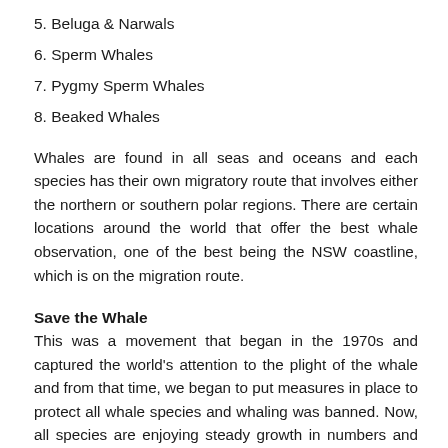5. Beluga & Narwals
6. Sperm Whales
7. Pygmy Sperm Whales
8. Beaked Whales
Whales are found in all seas and oceans and each species has their own migratory route that involves either the northern or southern polar regions. There are certain locations around the world that offer the best whale observation, one of the best being the NSW coastline, which is on the migration route.
Save the Whale
This was a movement that began in the 1970s and captured the world's attention to the plight of the whale and from that time, we began to put measures in place to protect all whale species and whaling was banned. Now, all species are enjoying steady growth in numbers and are no longer critically endangered and we are making